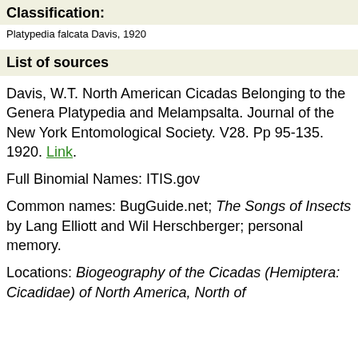Classification:
Platypedia falcata Davis, 1920
List of sources
Davis, W.T. North American Cicadas Belonging to the Genera Platypedia and Melampsalta. Journal of the New York Entomological Society. V28. Pp 95-135. 1920. Link.
Full Binomial Names: ITIS.gov
Common names: BugGuide.net; The Songs of Insects by Lang Elliott and Wil Herschberger; personal memory.
Locations: Biogeography of the Cicadas (Hemiptera: Cicadidae) of North America, North of